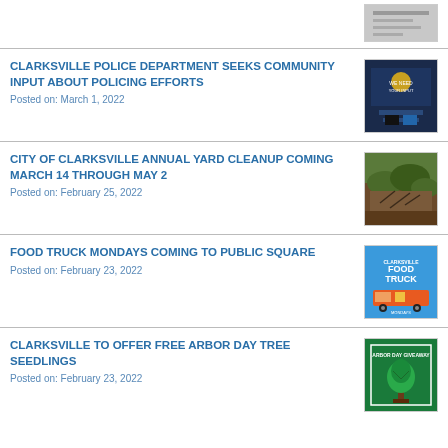[Figure (screenshot): Small thumbnail image at top right, partially visible]
CLARKSVILLE POLICE DEPARTMENT SEEKS COMMUNITY INPUT ABOUT POLICING EFFORTS
Posted on: March 1, 2022
[Figure (photo): Thumbnail image for police department community input article]
CITY OF CLARKSVILLE ANNUAL YARD CLEANUP COMING MARCH 14 THROUGH MAY 2
Posted on: February 25, 2022
[Figure (photo): Thumbnail image of yard cleanup - composting/mulch]
FOOD TRUCK MONDAYS COMING TO PUBLIC SQUARE
Posted on: February 23, 2022
[Figure (illustration): Thumbnail image for Food Truck Mondays event poster]
CLARKSVILLE TO OFFER FREE ARBOR DAY TREE SEEDLINGS
Posted on: February 23, 2022
[Figure (illustration): Thumbnail image for Arbor Day tree seedlings - green poster with plant graphic]